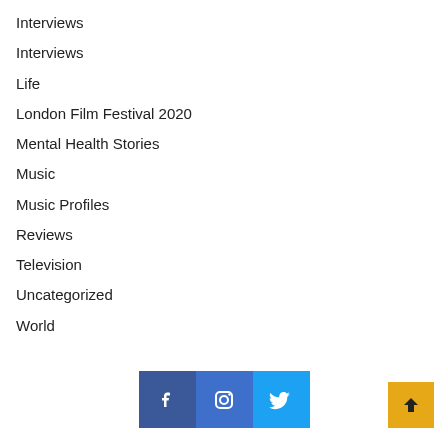Interviews
Interviews
Life
London Film Festival 2020
Mental Health Stories
Music
Music Profiles
Reviews
Television
Uncategorized
World
[Figure (infographic): Social media icons for Facebook, Instagram, and Twitter, plus a back-to-top arrow button]